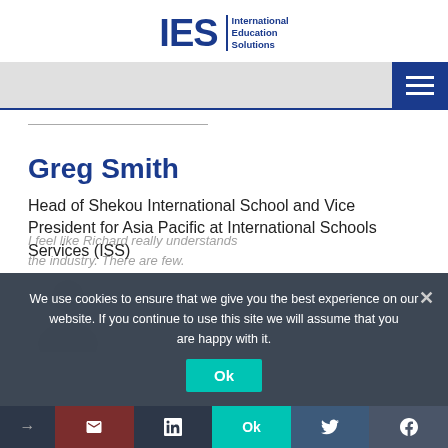[Figure (logo): IES International Education Solutions logo in dark blue]
Greg Smith
Head of Shekou International School and Vice President for Asia Pacific at International Schools Services (ISS)
[Figure (photo): Partial silhouette/placeholder of a person's photo]
We use cookies to ensure that we give you the best experience on our website. If you continue to use this site we will assume that you are happy with it.